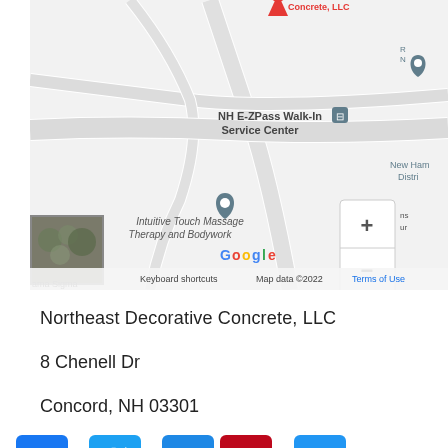[Figure (screenshot): Google Maps screenshot showing location of Northeast Decorative Concrete LLC near NH E-ZPass Walk-In Service Center and Intuitive Touch Massage Therapy and Bodywork, Concord NH. Shows zoom controls, keyboard shortcuts, Map data ©2022, Terms of Use.]
Northeast Decorative Concrete, LLC
8 Chenell Dr
Concord, NH 03301
[Figure (infographic): Social sharing icons row: Facebook (blue f), Twitter (blue bird), Email (blue envelope), Pinterest (red P), and a blue + (more) button. Phone number digits partially visible between icons: 8, 6, 7.]